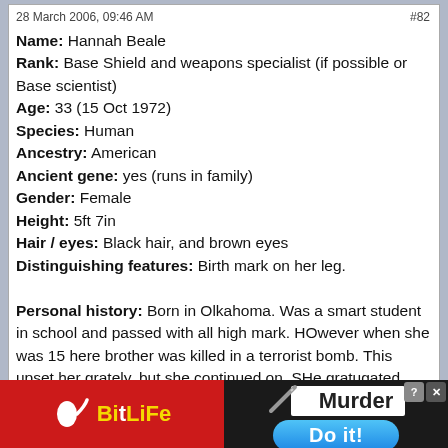28 March 2006, 09:46 AM    #82
Name: Hannah Beale
Rank: Base Shield and weapons specialist (if possible or Base scientist)
Age: 33 (15 Oct 1972)
Species: Human
Ancestry: American
Ancient gene: yes (runs in family)
Gender: Female
Height: 5ft 7in
Hair / eyes: Black hair, and brown eyes
Distinguishing features: Birth mark on her leg.

Personal history: Born in Olkahoma. Was a smart student in school and passed with all high mark. HOwever when she was 15 here brother was killed in a terrorist bomb. This upset her grately, but she continued on. SHe gratugated both high school and college, and then went to universatly and studied physics and electronics, and passed both with Ph.D's, she was then picked to go to Atlantis and was there untill a gate...
[Figure (infographic): BitLife app advertisement banner at bottom of page with red background, sperm logo, yellow BitLife text on left; Murder Do it! text with blue button on right]